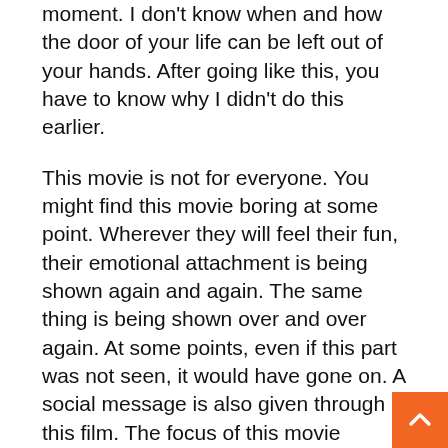moment. I don't know when and how the door of your life can be left out of your hands. After going like this, you have to know why I didn't do this earlier.
This movie is not for everyone. You might find this movie boring at some point. Wherever they will feel their fun, their emotional attachment is being shown again and again. The same thing is being shown over and over again. At some points, even if this part was not seen, it would have gone on. A social message is also given through this film. The focus of this movie depression has also been given. If you are in depression and want to avoid it. A pet can go a long way in relieving your depression.
Acting has done a great job in all the actors, you will enjoy watching Charlie's acting too. You will also get a lot of love from some comedy scenes. If everything is seen then the first half is very fast which will make you laugh a lot and the second half is a bit slow. That will make you emotional. And